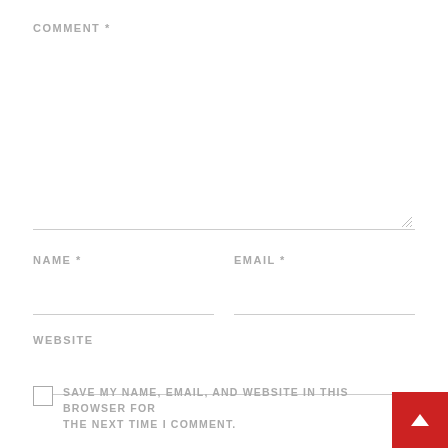COMMENT *
NAME *
EMAIL *
WEBSITE
SAVE MY NAME, EMAIL, AND WEBSITE IN THIS BROWSER FOR THE NEXT TIME I COMMENT.